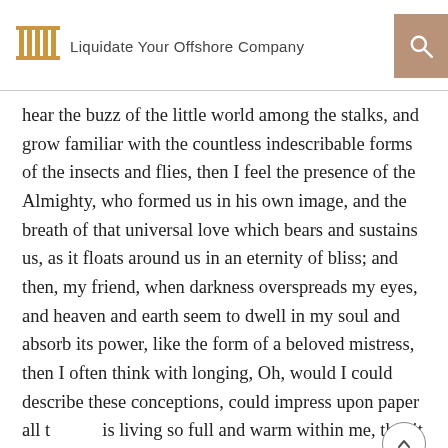Liquidate Your Offshore Company
hear the buzz of the little world among the stalks, and grow familiar with the countless indescribable forms of the insects and flies, then I feel the presence of the Almighty, who formed us in his own image, and the breath of that universal love which bears and sustains us, as it floats around us in an eternity of bliss; and then, my friend, when darkness overspreads my eyes, and heaven and earth seem to dwell in my soul and absorb its power, like the form of a beloved mistress, then I often think with longing, Oh, would I could describe these conceptions, could impress upon paper all that is living so full and warm within me, that it might be the mirror of my soul, as my soul is